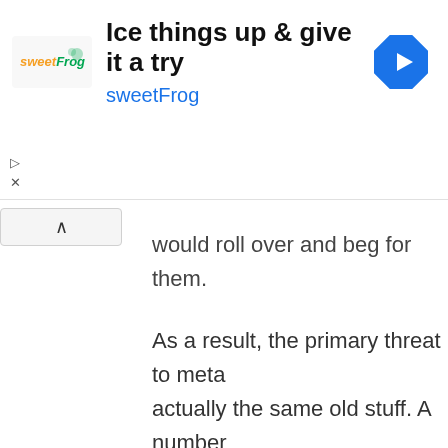[Figure (infographic): Advertisement banner for sweetFrog frozen yogurt. Shows the sweetFrog logo (orange 'sweet' and green 'Frog' text), headline 'Ice things up & give it a try', subtext 'sweetFrog' in blue, and a blue navigation arrow icon on the right.]
would roll over and beg for them.
As a result, the primary threat to meta actually the same old stuff. A number Opeth and all nu-metal (which under picked up more steam in the undergro post-hardcore, emo or indie rock — h late hardcore stylings has been sold a difference between metal and rock.